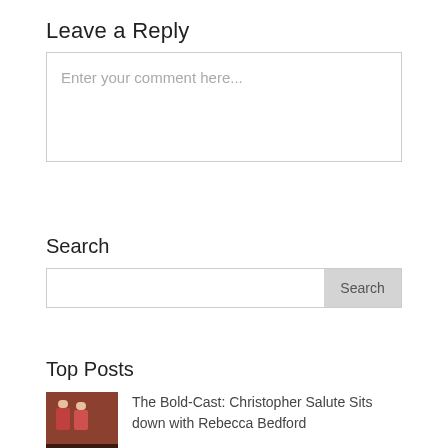Leave a Reply
Enter your comment here...
Search
Search
Top Posts
The Bold-Cast: Christopher Salute Sits down with Rebecca Bedford